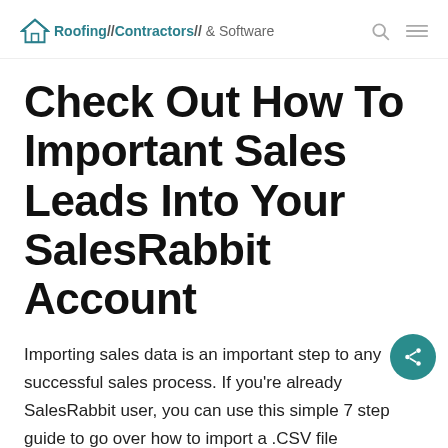Roofing//Contractors// & Software
Check Out How To Important Sales Leads Into Your SalesRabbit Account
Importing sales data is an important step to any successful sales process. If you're already SalesRabbit user, you can use this simple 7 step guide to go over how to import a .CSV file